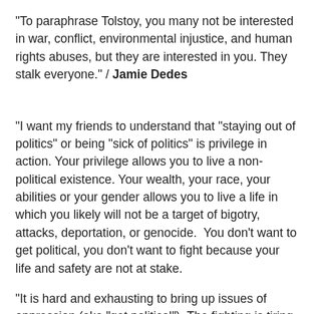“To paraphrase Tolstoy, you many not be interested in war, conflict, environmental injustice, and human rights abuses, but they are interested in you. They stalk everyone.” / Jamie Dedes
“I want my friends to understand that “staying out of politics” or being “sick of politics” is privilege in action. Your privilege allows you to live a non-political existence. Your wealth, your race, your abilities or your gender allows you to live a life in which you likely will not be a target of bigotry, attacks, deportation, or genocide. You don’t want to get political, you don’t want to fight because your life and safety are not at stake.
“It is hard and exhausting to bring up issues of oppression (aka “get political”). The fighting is tiring. I get it. Self-care is essential. But if you find politics annoying and you just want everyone to be nice, please know that people are literally fighting for their lives